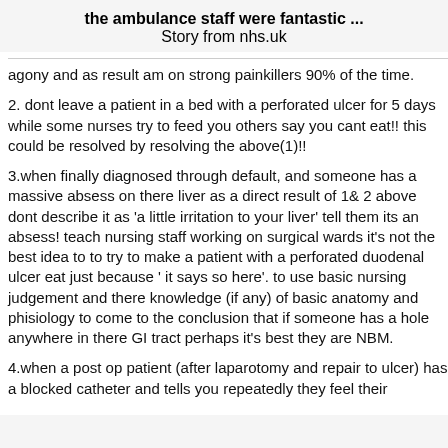the ambulance staff were fantastic ...
Story from nhs.uk
agony and as result am on strong painkillers 90% of the time.
2. dont leave a patient in a bed with a perforated ulcer for 5 days while some nurses try to feed you others say you cant eat!! this could be resolved by resolving the above(1)!!
3.when finally diagnosed through default, and someone has a massive absess on there liver as a direct result of 1& 2 above dont describe it as 'a little irritation to your liver' tell them its an absess! teach nursing staff working on surgical wards it's not the best idea to to try to make a patient with a perforated duodenal ulcer eat just because ' it says so here'. to use basic nursing judgement and there knowledge (if any) of basic anatomy and phisiology to come to the conclusion that if someone has a hole anywhere in there GI tract perhaps it's best they are NBM.
4.when a post op patient (after laparotomy and repair to ulcer) has a blocked catheter and tells you repeatedly they feel their